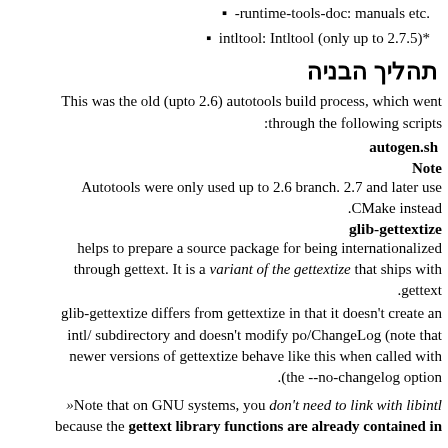.runtime-tools-doc: manuals etc-
*intltool: Intltool (only up to 2.7.5)
תהליך הבניה
This was the old (upto 2.6) autotools build process, which went through the following scripts:
autogen.sh
Note
Autotools were only used up to 2.6 branch. 2.7 and later use CMake instead.
glib-gettextize
helps to prepare a source package for being internationalized through gettext. It is a variant of the gettextize that ships with gettext.
glib-gettextize differs from gettextize in that it doesn't create an intl/ subdirectory and doesn't modify po/ChangeLog (note that newer versions of gettextize behave like this when called with the --no-changelog option).
Note that on GNU systems, you don't need to link with libintl« because the gettext library functions are already contained in